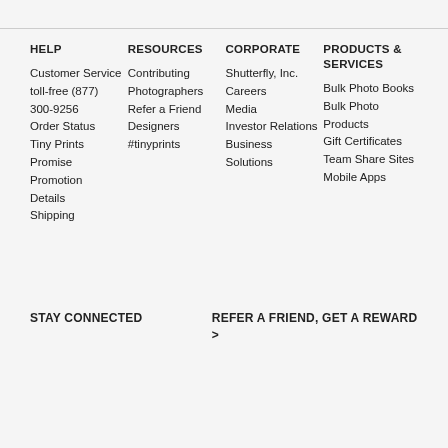HELP
Customer Service toll-free (877) 300-9256
Order Status
Tiny Prints Promise
Promotion Details
Shipping
RESOURCES
Contributing Photographers
Refer a Friend
Designers
#tinyprints
CORPORATE
Shutterfly, Inc.
Careers
Media
Investor Relations
Business Solutions
PRODUCTS & SERVICES
Bulk Photo Books
Bulk Photo Products
Gift Certificates
Team Share Sites
Mobile Apps
STAY CONNECTED
REFER A FRIEND, GET A REWARD >